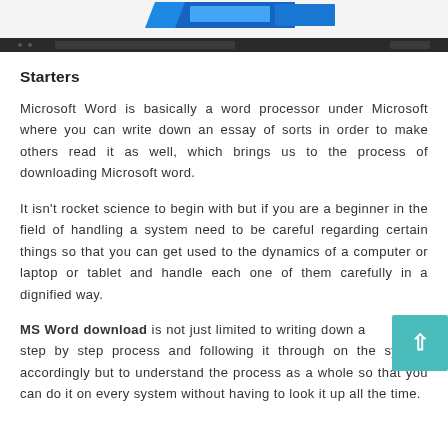[Figure (screenshot): Partial screenshot of a Microsoft Word interface with blue toolbar elements visible at top, with a dark browser/application bar at the bottom of the image.]
Starters
Microsoft Word is basically a word processor under Microsoft where you can write down an essay of sorts in order to make others read it as well, which brings us to the process of downloading Microsoft word.
It isn't rocket science to begin with but if you are a beginner in the field of handling a system need to be careful regarding certain things so that you can get used to the dynamics of a computer or laptop or tablet and handle each one of them carefully in a dignified way.
MS Word download is not just limited to writing down a step by step process and following it through on the system accordingly but to understand the process as a whole so that you can do it on every system without having to look it up all the time.